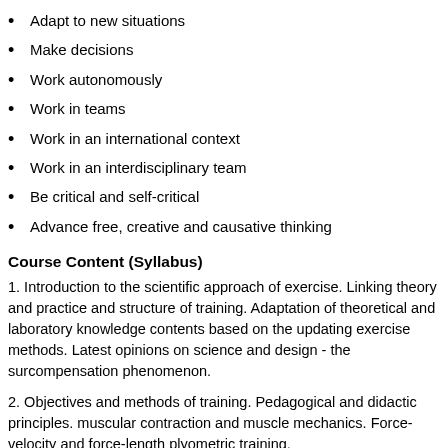Adapt to new situations
Make decisions
Work autonomously
Work in teams
Work in an international context
Work in an interdisciplinary team
Be critical and self-critical
Advance free, creative and causative thinking
Course Content (Syllabus)
1. Introduction to the scientific approach of exercise. Linking theory and practice and structure of training. Adaptation of theoretical and laboratory knowledge contents based on the updating exercise methods. Latest opinions on science and design - the surcompensation phenomenon.
2. Objectives and methods of training. Pedagogical and didactic principles. muscular contraction and muscle mechanics. Force-velocity and force-length plyometric training.
3. Jumping ability. Stretch-shortening cycle. Storage and re-utilization of the